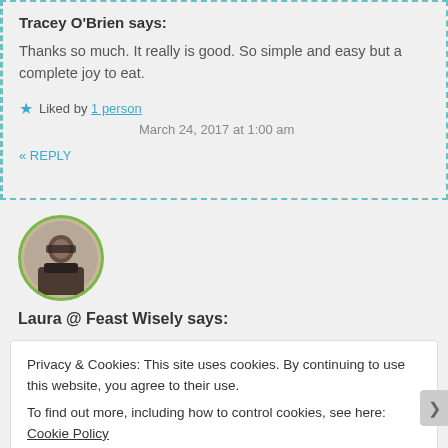Tracey O'Brien says:
Thanks so much. It really is good. So simple and easy but a complete joy to eat.
★ Liked by 1 person
March 24, 2017 at 1:00 am
« REPLY
[Figure (photo): Circular avatar photo of a person wearing sunglasses outdoors, with a green circular border]
Laura @ Feast Wisely says:
Privacy & Cookies: This site uses cookies. By continuing to use this website, you agree to their use.
To find out more, including how to control cookies, see here: Cookie Policy
Close and accept